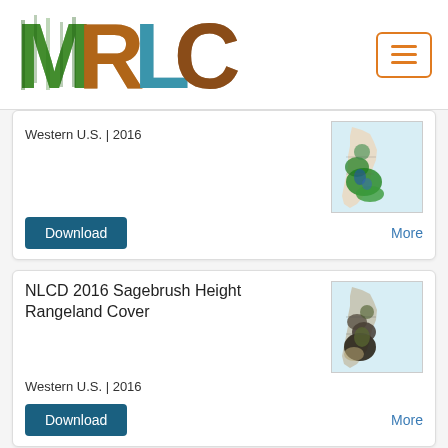[Figure (logo): MRLC logo with nature-photo letters M, R, L, C]
[Figure (map): Map of Western U.S. showing land cover data in green and blue]
Western U.S. | 2016
Download
More
NLCD 2016 Sagebrush Height Rangeland Cover
[Figure (map): Map of Western U.S. showing sagebrush height rangeland cover in greyscale/dark tones]
Western U.S. | 2016
Download
More